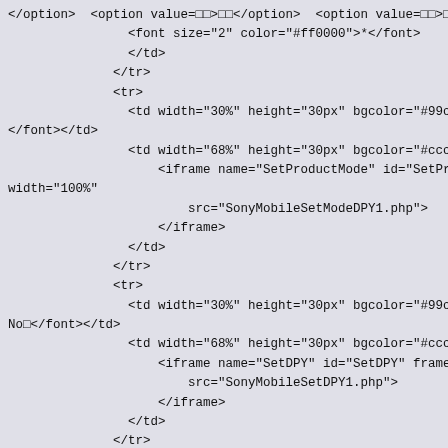HTML/PHP source code snippet showing table row structure with iframes for SonyMobileSetModeDPY1.php and SonyMobileSetDPY1.php